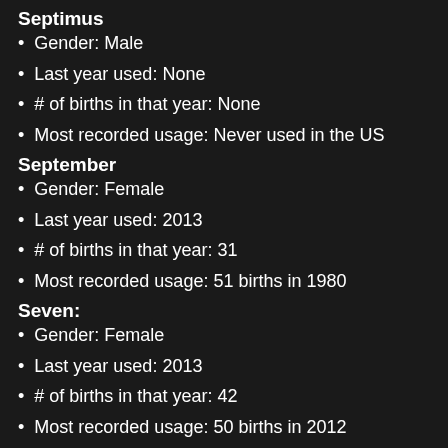Septimus
Gender: Male
Last year used: None
# of births in that year: None
Most recorded usage: Never used in the US
September
Gender: Female
Last year used: 2013
# of births in that year: 31
Most recorded usage: 51 births in 1980
Seven:
Gender: Female
Last year used: 2013
# of births in that year: 42
Most recorded usage: 50 births in 2012